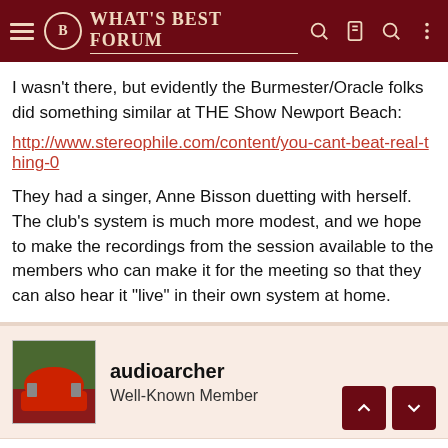WHAT'S BEST FORUM
I wasn't there, but evidently the Burmester/Oracle folks did something similar at THE Show Newport Beach: http://www.stereophile.com/content/you-cant-beat-real-thing-0
They had a singer, Anne Bisson duetting with herself. The club's system is much more modest, and we hope to make the recordings from the session available to the members who can make it for the meeting so that they can also hear it "live" in their own system at home.
audioarcher
Well-Known Member
Jun 10, 2012  #49
garylkoh said:
Sean, I'm glad that you are enjoying the PNWAS meetings.